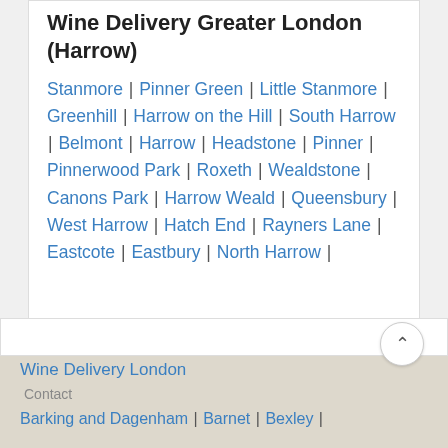Wine Delivery Greater London (Harrow)
Stanmore | Pinner Green | Little Stanmore | Greenhill | Harrow on the Hill | South Harrow | Belmont | Harrow | Headstone | Pinner | Pinnerwood Park | Roxeth | Wealdstone | Canons Park | Harrow Weald | Queensbury | West Harrow | Hatch End | Rayners Lane | Eastcote | Eastbury | North Harrow |
Wine Delivery London
Contact
Barking and Dagenham | Barnet | Bexley |